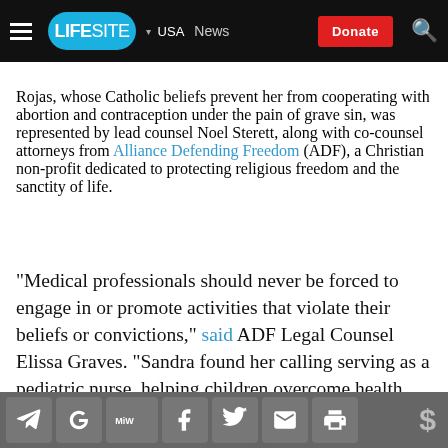LIFESITE · USA · News · Donate
Rojas, whose Catholic beliefs prevent her from cooperating with abortion and contraception under the pain of grave sin, was represented by lead counsel Noel Sterett, along with co-counsel attorneys from Alliance Defending Freedom (ADF), a Christian non-profit dedicated to protecting religious freedom and the sanctity of life.
"Medical professionals should never be forced to engage in or promote activities that violate their beliefs or convictions," said ADF Legal Counsel Elissa Graves. "Sandra found her calling serving as a pediatric nurse, helping children overcome health obstacles and lead fulfilling lives. She chose to practice
Social share icons: Telegram, Google, MeWe, Facebook, Twitter, Email, Print | Donate $